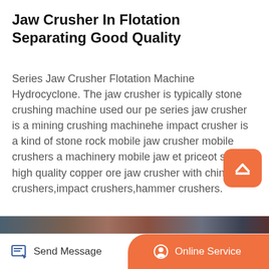Jaw Crusher In Flotation Separating Good Quality
Series Jaw Crusher Flotation Machine Hydrocyclone. The jaw crusher is typically stone crushing machine used our pe series jaw crusher is a mining crushing machinehe impact crusher is a kind of stone rock mobile jaw crusher mobile crushers a machinery mobile jaw et priceot sale high quality copper ore jaw crusher with china crushers,impact crushers,hammer crushers.
[Figure (other): Orange 'scroll to top' button with upward chevron icon, positioned in the right side]
Read More
[Figure (photo): Industrial mining or crushing machinery image showing equipment with cables and machinery parts]
Send Message   Online Service